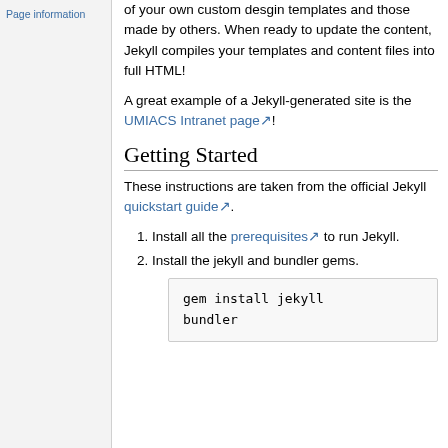Page information
of your own custom desgin templates and those made by others. When ready to update the content, Jekyll compiles your templates and content files into full HTML!
A great example of a Jekyll-generated site is the UMIACS Intranet page!
Getting Started
These instructions are taken from the official Jekyll quickstart guide.
1. Install all the prerequisites to run Jekyll.
2. Install the jekyll and bundler gems.
gem install jekyll bundler